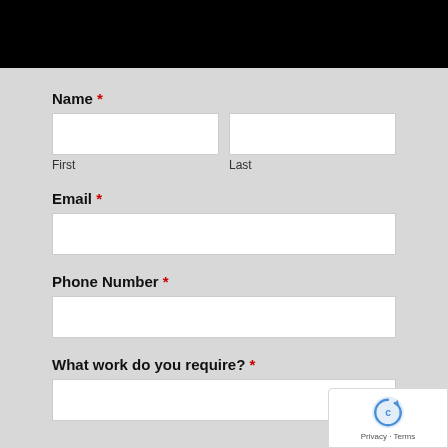Name *
First
Last
Email *
Phone Number *
What work do you require? *